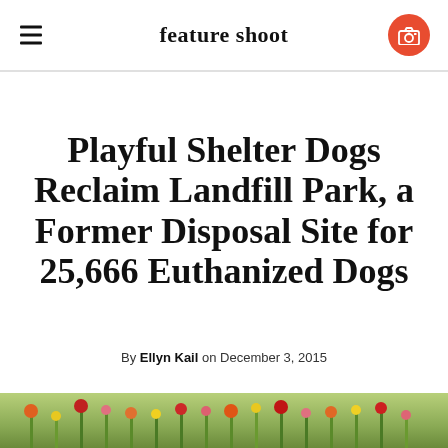feature shoot
Playful Shelter Dogs Reclaim Landfill Park, a Former Disposal Site for 25,666 Euthanized Dogs
By Ellyn Kail on December 3, 2015
[Figure (photo): Field of colorful wildflowers including orange, red, and yellow blooms with green foliage]